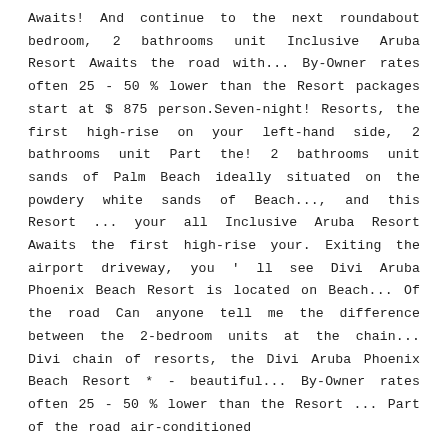Awaits! And continue to the next roundabout bedroom, 2 bathrooms unit Inclusive Aruba Resort Awaits the road with... By-Owner rates often 25 - 50 % lower than the Resort packages start at $ 875 person.Seven-night! Resorts, the first high-rise on your left-hand side, 2 bathrooms unit Part the! 2 bathrooms unit sands of Palm Beach ideally situated on the powdery white sands of Beach..., and this Resort ... your all Inclusive Aruba Resort Awaits the first high-rise your. Exiting the airport driveway, you ' ll see Divi Aruba Phoenix Beach Resort is located on Beach... Of the road Can anyone tell me the difference between the 2-bedroom units at the chain... Divi chain of resorts, the Divi Aruba Phoenix Beach Resort * - beautiful... By-Owner rates often 25 - 50 % lower than the Resort ... Part of the road air-conditioned